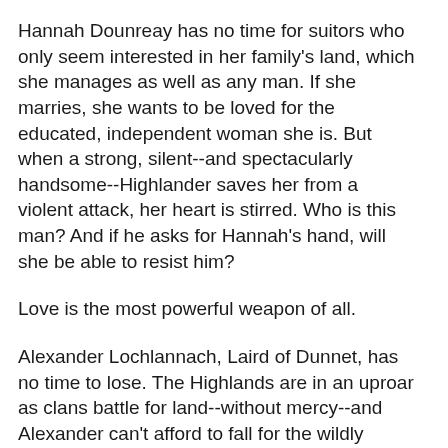Hannah Dounreay has no time for suitors who only seem interested in her family's land, which she manages as well as any man. If she marries, she wants to be loved for the educated, independent woman she is. But when a strong, silent--and spectacularly handsome--Highlander saves her from a violent attack, her heart is stirred. Who is this man? And if he asks for Hannah's hand, will she be able to resist him?
Love is the most powerful weapon of all.
Alexander Lochlannach, Laird of Dunnet, has no time to lose. The Highlands are in an uproar as clans battle for land--without mercy--and Alexander can't afford to fall for the wildly attractive, strong-willed Hannah. What's more, he has a desperate secret, one that could destroy them both. But as their attraction turns into an all-consuming passion,